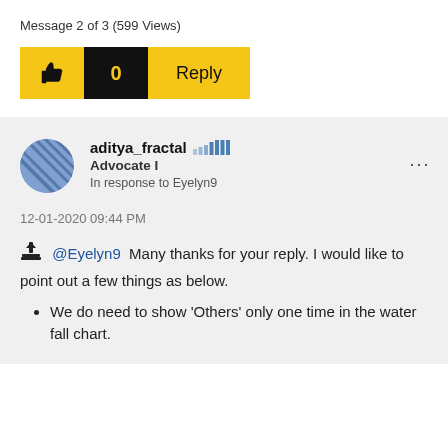Message 2 of 3 (599 Views)
[Figure (screenshot): Action bar with thumbs-up like button (yellow), like count 0 (black background, yellow text), and Reply button (yellow)]
[Figure (illustration): User avatar - blue circle with diagonal striped pattern]
aditya_fractal  Advocate I
In response to Eyelyn9
12-01-2020 09:44 PM
@Eyelyn9  Many thanks for your reply. I would like to point out a few things as below.
We do need to show 'Others' only one time in the water fall chart.